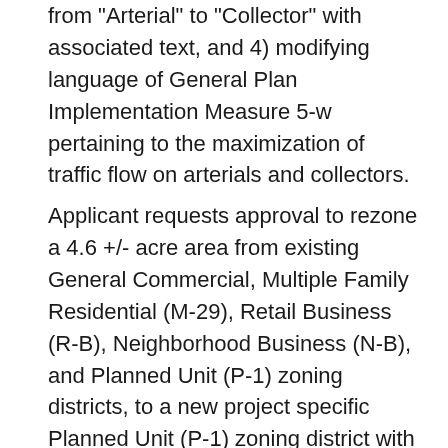from "Arterial" to "Collector" with associated text, and 4) modifying language of General Plan Implementation Measure 5-w pertaining to the maximization of traffic flow on arterials and collectors.
Applicant requests approval to rezone a 4.6 +/- acre area from existing General Commercial, Multiple Family Residential (M-29), Retail Business (R-B), Neighborhood Business (N-B), and Planned Unit (P-1) zoning districts, to a new project specific Planned Unit (P-1) zoning district with a